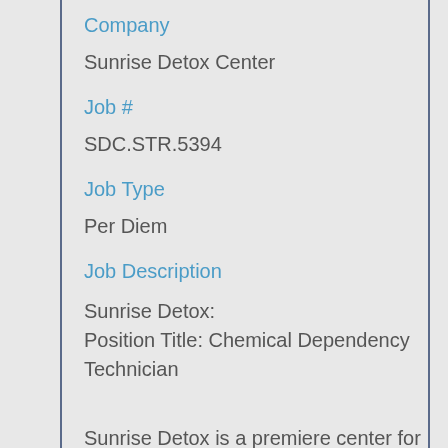Company
Sunrise Detox Center
Job #
SDC.STR.5394
Job Type
Per Diem
Job Description
Sunrise Detox:
Position Title: Chemical Dependency Technician
Sunrise Detox is a premiere center for drug and alcohol detox. Sunrise